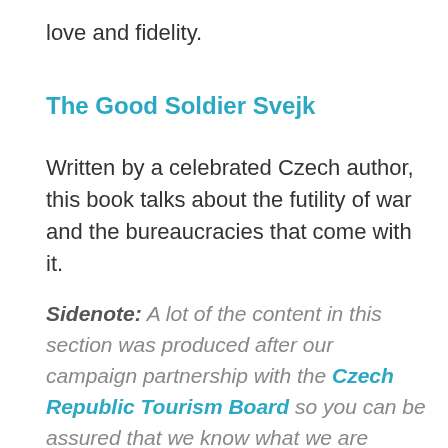love and fidelity.
The Good Soldier Svejk
Written by a celebrated Czech author, this book talks about the futility of war and the bureaucracies that come with it.
Sidenote: A lot of the content in this section was produced after our campaign partnership with the Czech Republic Tourism Board so you can be assured that we know what we are talking about when we give you tips and